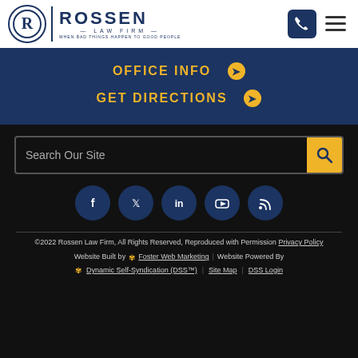[Figure (logo): Rossen Law Firm logo with circular R emblem and tagline 'When Bad Things Happen to Good People']
OFFICE INFO ➔
GET DIRECTIONS ➔
Search Our Site
[Figure (illustration): Social media icons row: Facebook, Twitter, LinkedIn, YouTube, RSS]
©2022 Rossen Law Firm, All Rights Reserved, Reproduced with Permission Privacy Policy
Website Built by ⚙ Foster Web Marketing | Website Powered By
⚙ Dynamic Self-Syndication (DSS™) | Site Map | DSS Login